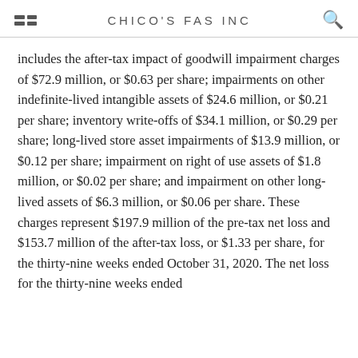CHICO'S FAS INC
includes the after-tax impact of goodwill impairment charges of $72.9 million, or $0.63 per share; impairments on other indefinite-lived intangible assets of $24.6 million, or $0.21 per share; inventory write-offs of $34.1 million, or $0.29 per share; long-lived store asset impairments of $13.9 million, or $0.12 per share; impairment on right of use assets of $1.8 million, or $0.02 per share; and impairment on other long-lived assets of $6.3 million, or $0.06 per share. These charges represent $197.9 million of the pre-tax net loss and $153.7 million of the after-tax loss, or $1.33 per share, for the thirty-nine weeks ended October 31, 2020. The net loss for the thirty-nine weeks ended